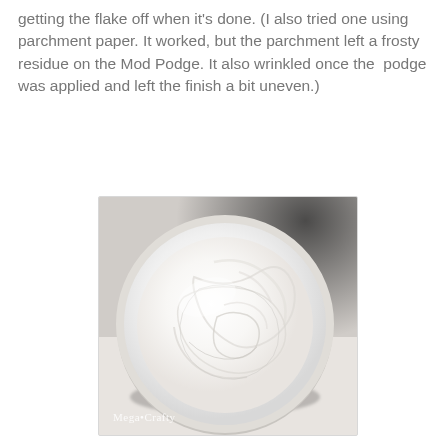getting the flake off when it's done. (I also tried one using parchment paper. It worked, but the parchment left a frosty residue on the Mod Podge. It also wrinkled once the  podge was applied and left the finish a bit uneven.)
[Figure (photo): Close-up photograph of an open white circular container (Mod Podge lid or shallow dish) with white cream/paste inside showing texture and swirl patterns. The image has a watermark reading 'Mega•Crafty' in the lower left corner.]